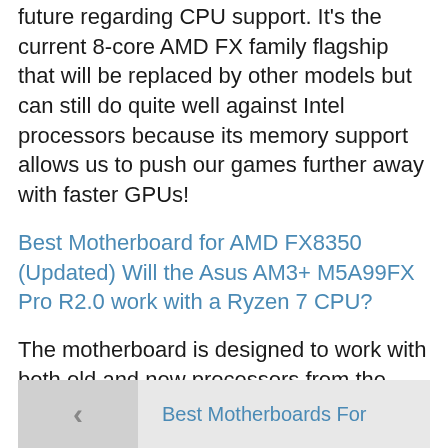future regarding CPU support. It's the current 8-core AMD FX family flagship that will be replaced by other models but can still do quite well against Intel processors because its memory support allows us to push our games further away with faster GPUs!
Best Motherboard for AMD FX8350 (Updated) Will the Asus AM3+ M5A99FX Pro R2.0 work with a Ryzen 7 CPU?
The motherboard is designed to work with both old and new processors from the same family, so you're good to go!
[Figure (other): Navigation box with left arrow and text 'Best Motherboards For']